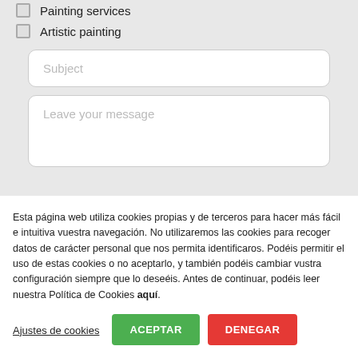Painting services
Artistic painting
Subject
Leave your message
Esta página web utiliza cookies propias y de terceros para hacer más fácil e intuitiva vuestra navegación. No utilizaremos las cookies para recoger datos de carácter personal que nos permita identificaros. Podéis permitir el uso de estas cookies o no aceptarlo, y también podéis cambiar vustra configuración siempre que lo deseéis. Antes de continuar, podéis leer nuestra Política de Cookies aquí.
Ajustes de cookies
ACEPTAR
DENEGAR